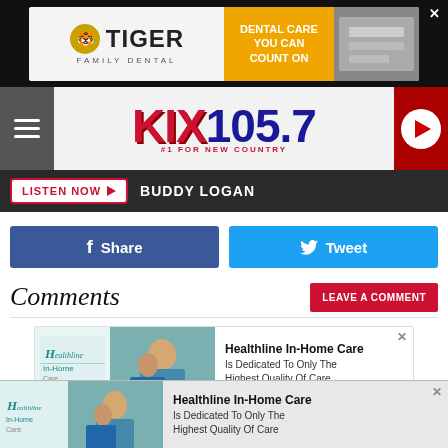[Figure (photo): Tiger Family Dental advertisement banner with logo, 'DENTAL CARE YOU CAN COUNT ON' text and dental office photo]
[Figure (logo): KIX 105.7 #1 For New Country radio station header logo with hamburger menu and play button]
LISTEN NOW ▶ BUDDY LOGAN
f Share
🐦 Tweet
Comments
LEAVE A COMMENT
[Figure (photo): Healthline In-Home Care advertisement: logo and nurse/patient image with text 'Healthline In-Home Care Is Dedicated To Only The Highest Quality Of Care']
BATH & BODY WORKS IS
[Figure (photo): Healthline In-Home Care bottom banner advertisement]